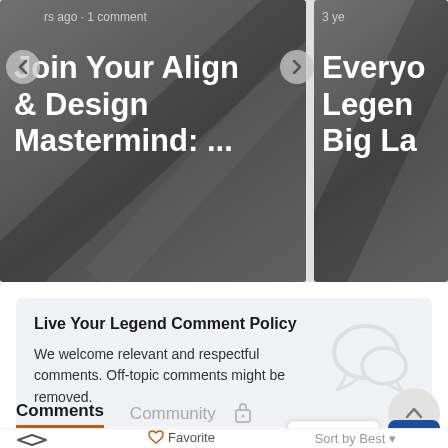[Figure (screenshot): Carousel cards showing blog post thumbnails with dark gray gradient backgrounds. Left card shows partial text 'rs ago · 1 comment' and title 'Join Your Align & Design Mastermind: ...'. Right card shows '3 ye' and 'Everyo Legen Big La'. Navigation arrows on sides.]
Live Your Legend Comment Policy
We welcome relevant and respectful comments. Off-topic comments might be removed.
Comments
Community
Contact
Sort by Best
Favorite